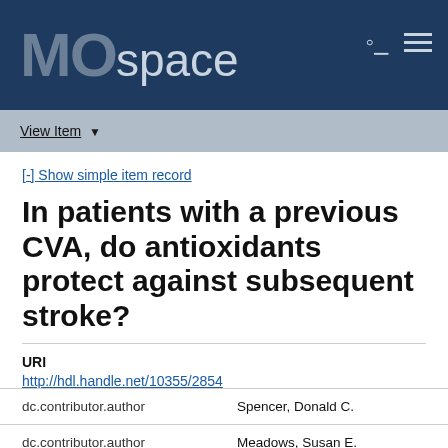MOspace
View Item
[-] Show simple item record
In patients with a previous CVA, do antioxidants protect against subsequent stroke?
URI
http://hdl.handle.net/10355/2854
|  |  |
| --- | --- |
| dc.contributor.author | Spencer, Donald C. |
| dc.contributor.author | Meadows, Susan E. |